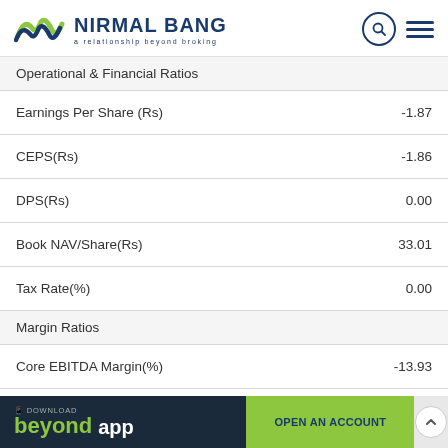[Figure (logo): Nirmal Bang logo with tagline 'a relationship beyond broking']
| Metric | Value |
| --- | --- |
| Operational & Financial Ratios |  |
| Earnings Per Share (Rs) | -1.87 |
| CEPS(Rs) | -1.86 |
| DPS(Rs) | 0.00 |
| Book NAV/Share(Rs) | 33.01 |
| Tax Rate(%) | 0.00 |
| Margin Ratios |  |
| Core EBITDA Margin(%) | -13.93 |
[Figure (screenshot): Bottom banner with 'Download beyond app' and 'Open an Account' buttons]